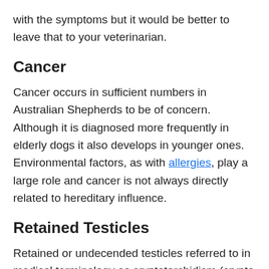with the symptoms but it would be better to leave that to your veterinarian.
Cancer
Cancer occurs in sufficient numbers in Australian Shepherds to be of concern. Although it is diagnosed more frequently in elderly dogs it also develops in younger ones. Environmental factors, as with allergies, play a large role and cancer is not always directly related to hereditary influence.
Retained Testicles
Retained or undecended testicles referred to in medical terminology as cryptotorchidism (crypto meaning hidden) is relatively common in Australian Shepherds. Once and the testicles fall it can generally fall from the